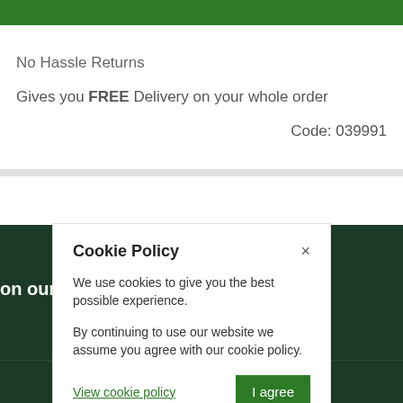[Figure (screenshot): Green header bar at top of webpage]
No Hassle Returns
Gives you FREE Delivery on your whole order
Code: 039991
[Figure (screenshot): Dark green footer/background section with 'on our US site' text and X close button and green button, plus 'please click here' text]
Cookie Policy
We use cookies to give you the best possible experience.
By continuing to use our website we assume you agree with our cookie policy.
View cookie policy
I agree
View privacy policy